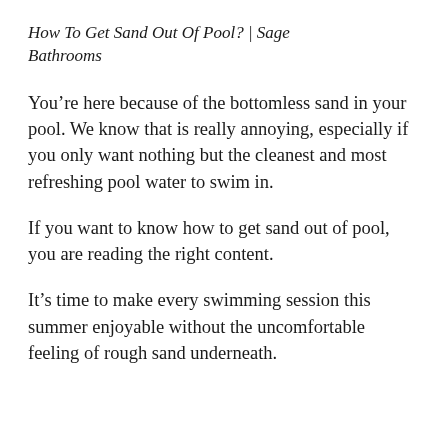How To Get Sand Out Of Pool? | Sage Bathrooms
You’re here because of the bottomless sand in your pool. We know that is really annoying, especially if you only want nothing but the cleanest and most refreshing pool water to swim in.
If you want to know how to get sand out of pool, you are reading the right content.
It’s time to make every swimming session this summer enjoyable without the uncomfortable feeling of rough sand underneath.